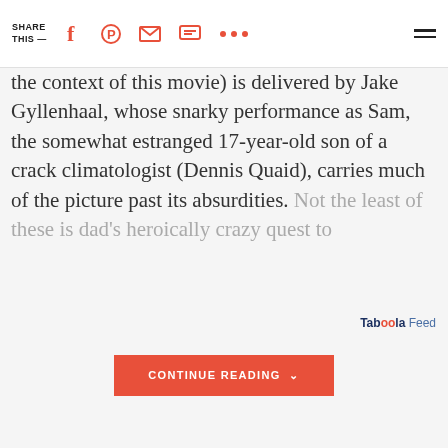SHARE THIS —
the context of this movie) is delivered by Jake Gyllenhaal, whose snarky performance as Sam, the somewhat estranged 17-year-old son of a crack climatologist (Dennis Quaid), carries much of the picture past its absurdities. Not the least of these is dad's heroically crazy quest to
CONTINUE READING
Taboola Feed